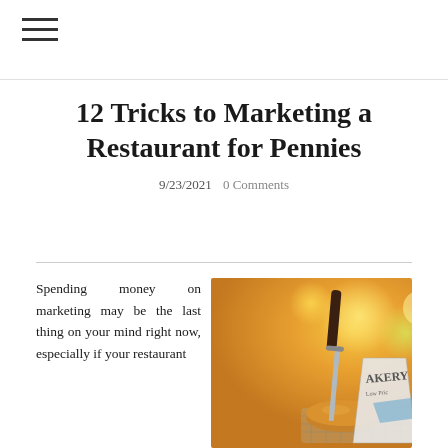☰
12 Tricks to Marketing a Restaurant for Pennies
9/23/2021   0 Comments
Spending money on marketing may be the last thing on your mind right now, especially if your restaurant...
[Figure (photo): A burger slider with a steak knife stuck in it, next to a paper bag with bakery label, in a wire basket. Background has bokeh lights in warm orange and yellow tones.]